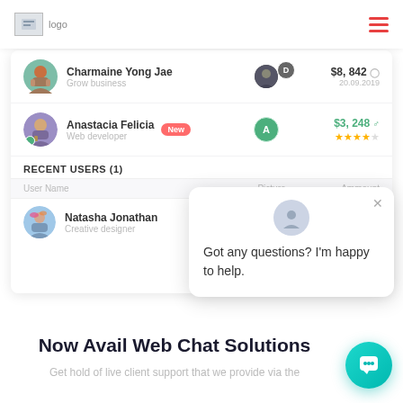[Figure (screenshot): Website header with logo on left and hamburger menu (red lines) on right]
[Figure (screenshot): Dashboard UI showing user rows: Charmaine Yong Jae (Grow business, $8,842, 20.09.2019) and Anastacia Felicia (Web developer, New badge, $3,248, 4.5 stars). Recent Users (1) table with columns User Name, Picture, Ammount. Row: Natasha Jonathan, Creative designer.]
[Figure (screenshot): Chat popup with avatar icon, X close button, text: Got any questions? I'm happy to help.]
Now Avail Web Chat Solutions
Get hold of live client support that we provide via the
[Figure (other): Teal circular chat button in bottom right corner]